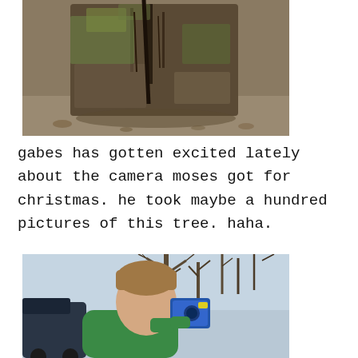[Figure (photo): Close-up photograph of a large weathered tree stump with moss and lichen growing on it, sitting on bare ground with leaves and debris around the base.]
gabes has gotten excited lately about the camera moses got for christmas. he took maybe a hundred pictures of this tree. haha.
[Figure (photo): A young child in a green sweatshirt holding a small camera up to take a photo, with bare winter trees and a blue sky in the background. A dark stroller/pram is visible on the left side.]